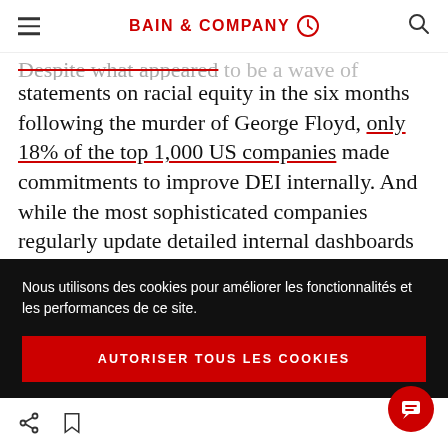BAIN & COMPANY
Despite what appeared to be a wave of corporate statements on racial equity in the six months following the murder of George Floyd, only 18% of the top 1,000 US companies made commitments to improve DEI internally. And while the most sophisticated companies regularly update detailed internal dashboards that they assign as key management indicators of
Nous utilisons des cookies pour améliorer les fonctionnalités et les performances de ce site.
AUTORISER TOUS LES COOKIES